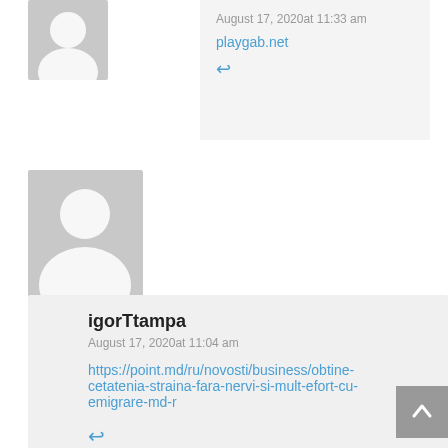August 17, 2020at 11:33 am
playgab.net
[Figure (illustration): Reply arrow icon (blue)]
[Figure (photo): Generic user avatar placeholder - grey silhouette]
igorTtampa
August 17, 2020at 11:04 am
https://point.md/ru/novosti/business/obtine-cetatenia-straina-fara-nervi-si-mult-efort-cu-emigrare-md-r
[Figure (illustration): Reply arrow icon (blue)]
[Figure (illustration): Back to top button - grey square with white chevron up arrow]